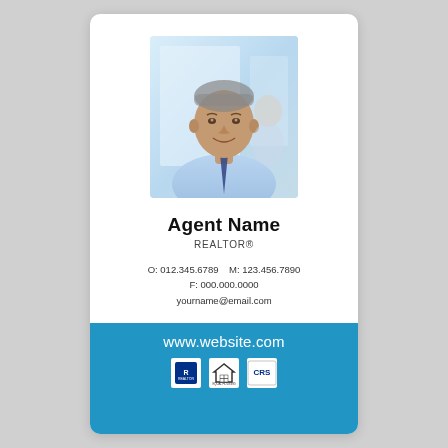[Figure (photo): Headshot of a middle-aged man in a light blue shirt and navy tie, smiling, in a bright office background.]
Agent Name
REALTOR®
O: 012.345.6789    M: 123.456.7890
F: 000.000.0000
yourname@email.com
www.website.com
[Figure (logo): REALTOR logo, Equal Housing logo, and CRS logo in white boxes on blue background.]